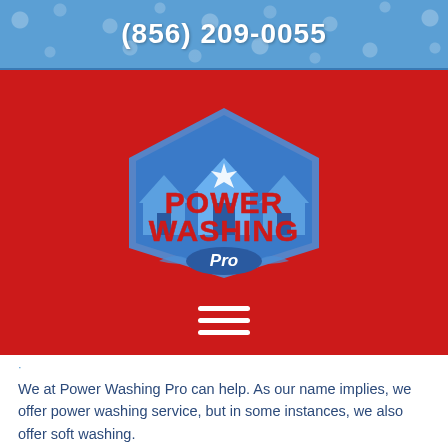(856) 209-0055
[Figure (logo): Power Washing Pro logo with blue house silhouettes and red bold text reading POWER WASHING Pro on a red background]
We at Power Washing Pro can help. As our name implies, we offer power washing service, but in some instances, we also offer soft washing.
What's the difference? Keep reading to learn everything you need to know.
Soft Washing vs. Pressure